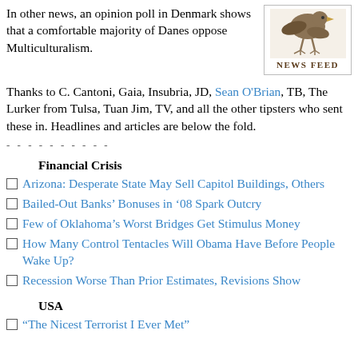In other news, an opinion poll in Denmark shows that a comfortable majority of Danes oppose Multiculturalism.
[Figure (illustration): NEWS FEED logo with an eagle or bird illustration and text 'NEWS FEED' in a bordered box]
Thanks to C. Cantoni, Gaia, Insubria, JD, Sean O'Brian, TB, The Lurker from Tulsa, Tuan Jim, TV, and all the other tipsters who sent these in. Headlines and articles are below the fold.
- - - - - - - - - -
Financial Crisis
Arizona: Desperate State May Sell Capitol Buildings, Others
Bailed-Out Banks’ Bonuses in ‘08 Spark Outcry
Few of Oklahoma’s Worst Bridges Get Stimulus Money
How Many Control Tentacles Will Obama Have Before People Wake Up?
Recession Worse Than Prior Estimates, Revisions Show
USA
“The Nicest Terrorist I Ever Met”